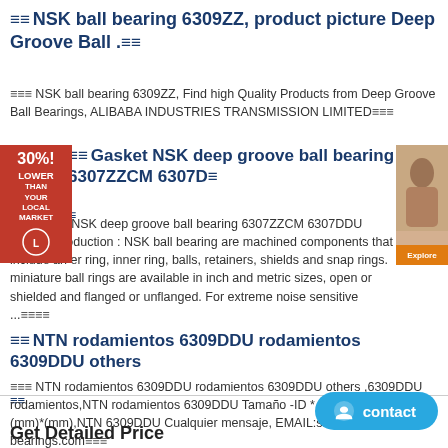≡≡NSK ball bearing 6309ZZ, product picture Deep Groove Ball .≡≡
≡≡≡ NSK ball bearing 6309ZZ, Find high Quality Products from Deep Groove Ball Bearings, ALIBABA INDUSTRIES TRANSMISSION LIMITED≡≡≡
≡≡Gasket NSK deep groove ball bearing 6307ZZCM 6307D≡
≡≡ Gasket NSK deep groove ball bearing 6307ZZCM 6307DDU rolinera production : NSK ball bearing are machined components that include an er ring, inner ring, balls, retainers, shields and snap rings. miniature ball rings are available in inch and metric sizes, open or shielded and flanged or unflanged. For extreme noise sensitive ...≡≡≡≡
≡≡NTN rodamientos 6309DDU rodamientos 6309DDU others ≡≡
≡≡≡ NTN rodamientos 6309DDU rodamientos 6309DDU others ,6309DDU rodamientos,NTN rodamientos 6309DDU Tamaño -ID * OD * espesor□(mm)*(mm)*(mm),NTN 6309DDU Cualquier mensaje, EMAIL:sales@fag-nsk-bearings.com≡≡≡
Get Detailed Price